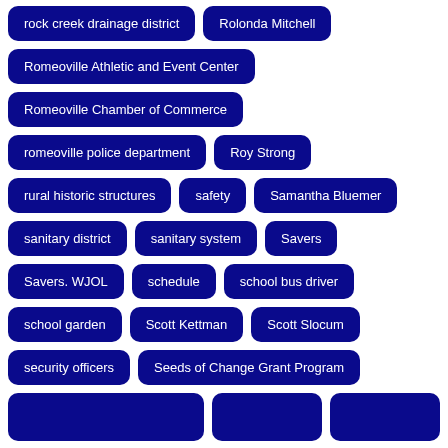rock creek drainage district
Rolonda Mitchell
Romeoville Athletic and Event Center
Romeoville Chamber of Commerce
romeoville police department
Roy Strong
rural historic structures
safety
Samantha Bluemer
sanitary district
sanitary system
Savers
Savers. WJOL
schedule
school bus driver
school garden
Scott Kettman
Scott Slocum
security officers
Seeds of Change Grant Program